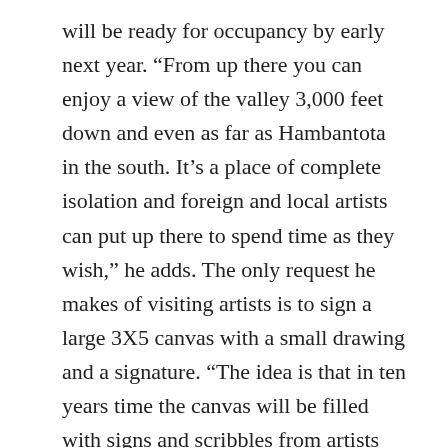will be ready for occupancy by early next year. “From up there you can enjoy a view of the valley 3,000 feet down and even as far as Hambantota in the south. It’s a place of complete isolation and foreign and local artists can put up there to spend time as they wish,” he adds. The only request he makes of visiting artists is to sign a large 3X5 canvas with a small drawing and a signature. “The idea is that in ten years time the canvas will be filled with signs and scribbles from artists all over the world.”
Vipula himself prefers to spend the better part of his time in Beragala, where he finds a rare seclusion as he indulges in what is today his primary engagement, perfecting his technique of ‘digitising line drawing’ with lines and dots. “That is together with a Japanese influence of keeping things simple, after all simplicity is the ultimate form of beauty – the less lines the better,” he adds.